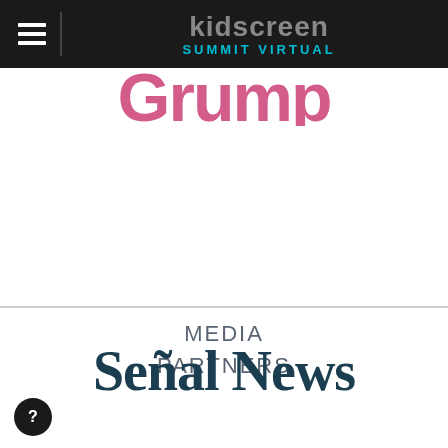kidscreen SUMMIT VIRTUAL
[Figure (logo): Partially visible large stylized text in pink/magenta, cropped at top of page]
MEDIA PARTNERS
[Figure (logo): Señal News logo in dark teal serif bold font]
[Figure (other): Circular help/question mark button at bottom left]